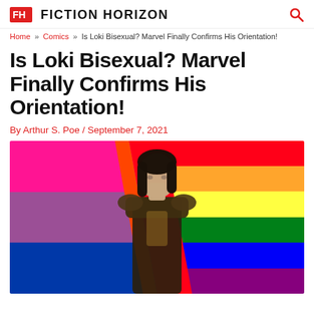FH FICTION HORIZON
Home » Comics » Is Loki Bisexual? Marvel Finally Confirms His Orientation!
Is Loki Bisexual? Marvel Finally Confirms His Orientation!
By Arthur S. Poe / September 7, 2021
[Figure (photo): Loki character (Tom Hiddleston) standing in front of a rainbow pride flag background with magenta/pink, purple, and blue stripes on the left, and red, orange, yellow, green, blue, violet stripes on the right.]